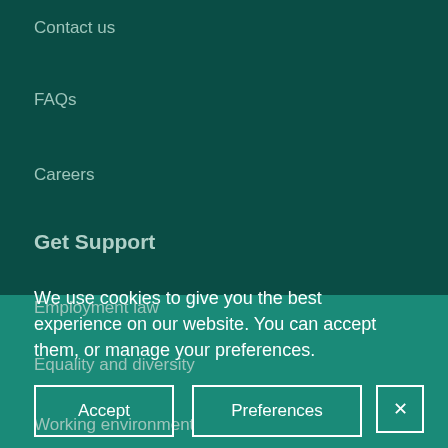Contact us
FAQs
Careers
Get Support
Employment law
Equality and diversity
Working environment
We use cookies to give you the best experience on our website. You can accept them, or manage your preferences.
Accept
Preferences
×